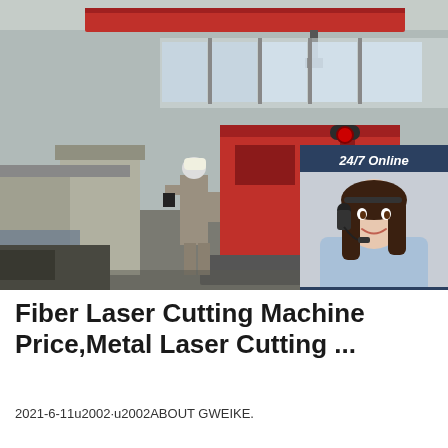[Figure (photo): Industrial factory interior showing workers operating large red metal laser cutting machinery under a red overhead crane, with high windows letting in natural light. A chat widget overlay on the right side shows '24/7 Online', a woman wearing a headset, 'Click here for free chat!' text, and an orange QUOTATION button.]
Fiber Laser Cutting Machine Price,Metal Laser Cutting ...
2021-6-11u2002·u2002ABOUT GWEIKE.